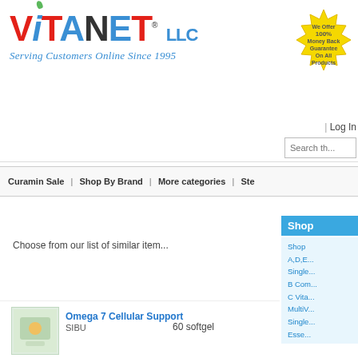[Figure (logo): VitaNet LLC logo with colorful letters and tagline 'Serving Customers Online Since 1995']
[Figure (other): Gold starburst badge: 'We Offer 100% Money Back Guarantee On All Products']
| Log In
Search th...
Curamin Sale | Shop By Brand | More categories | Ste...
Shop
Choose from our list of similar item...
Shop
A,D,E...
Single...
B Com...
C Vita...
MultiV...
Single...
Esse...
Omega 7 Cellular Support
SIBU
60 softgel